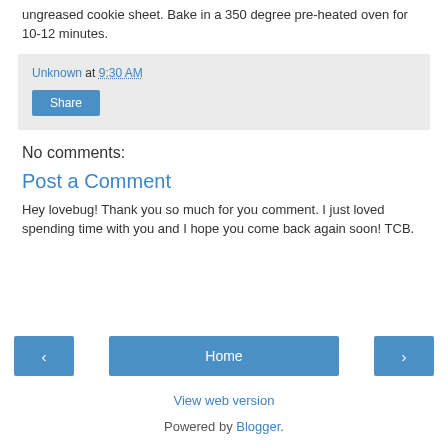ungreased cookie sheet. Bake in a 350 degree pre-heated oven for 10-12 minutes.
Unknown at 9:30 AM
Share
No comments:
Post a Comment
Hey lovebug! Thank you so much for you comment. I just loved spending time with you and I hope you come back again soon! TCB.
‹
Home
›
View web version
Powered by Blogger.